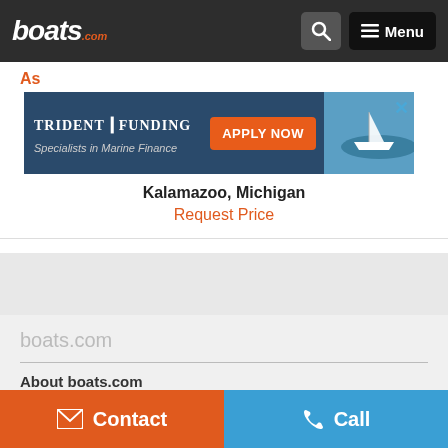boats.com — Menu
[Figure (screenshot): Trident Funding advertisement banner — Specialists in Marine Finance, Apply Now]
Kalamazoo, Michigan
Request Price
boats.com
About boats.com
Contact
Call